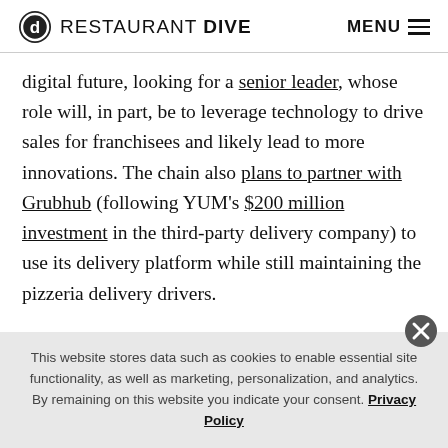RESTAURANT DIVE  MENU
digital future, looking for a senior leader, whose role will, in part, be to leverage technology to drive sales for franchisees and likely lead to more innovations. The chain also plans to partner with Grubhub (following YUM’s $200 million investment in the third-party delivery company) to use its delivery platform while still maintaining the pizzeria delivery drivers.

The company is also investing $90 million as part of its
This website stores data such as cookies to enable essential site functionality, as well as marketing, personalization, and analytics. By remaining on this website you indicate your consent. Privacy Policy